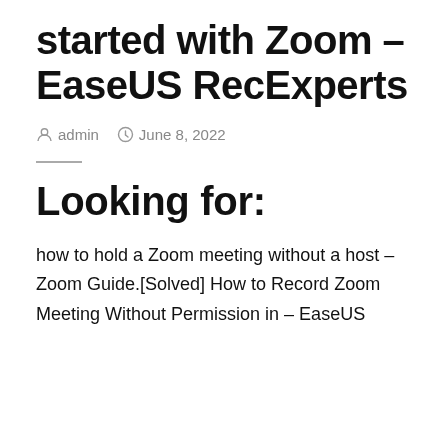started with Zoom – EaseUS RecExperts
admin   June 8, 2022
Looking for:
how to hold a Zoom meeting without a host – Zoom Guide.[Solved] How to Record Zoom Meeting Without Permission in – EaseUS